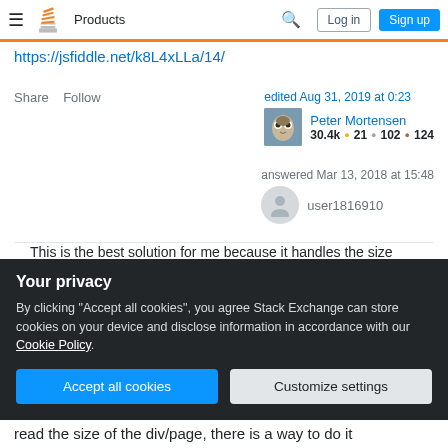≡  [Stack Overflow logo]  Products  🔍  Log in  Sign up
https://jsfiddle.net/k8L4xLLa/14/
Share   Follow
edited Aug 31, 2019 at 0:23
Peter Mortensen
30.4k • 21 • 102 • 124
answered Mar 13, 2018 at 15:48
user1816910
This is the best solution for me because it handles the size relation between the font size and the actual SVG.
– Elron  Jun 2 at 23:29
Your privacy
By clicking "Accept all cookies", you agree Stack Exchange can store cookies on your device and disclose information in accordance with our Cookie Policy.
Accept all cookies   Customize settings
read the size of the div/page, there is a way to do it